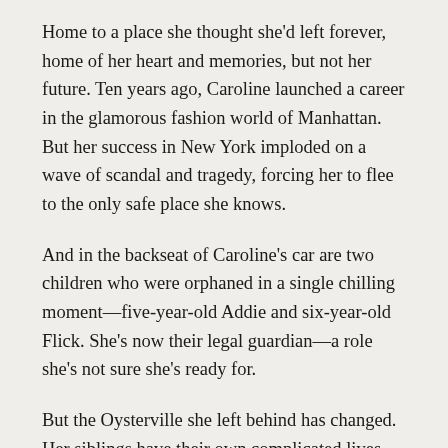Home to a place she thought she'd left forever, home of her heart and memories, but not her future. Ten years ago, Caroline launched a career in the glamorous fashion world of Manhattan. But her success in New York imploded on a wave of scandal and tragedy, forcing her to flee to the only safe place she knows.
And in the backseat of Caroline's car are two children who were orphaned in a single chilling moment—five-year-old Addie and six-year-old Flick. She's now their legal guardian—a role she's not sure she's ready for.
But the Oysterville she left behind has changed. Her siblings have their own complicated lives and her aging parents are hoping to pass on their thriving seafood restaurant to the next generation. And there's Will Jensen, a decorated Navy SEAL who's also